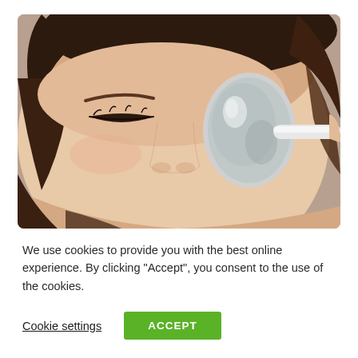[Figure (photo): Close-up photo of a woman's face with eyes closed, holding a spoon against her eye area. The spoon is metallic/silver with a white handle. Background is a brownish-gray color.]
We use cookies to provide you with the best online experience. By clicking "Accept", you consent to the use of the cookies.
Cookie settings
ACCEPT